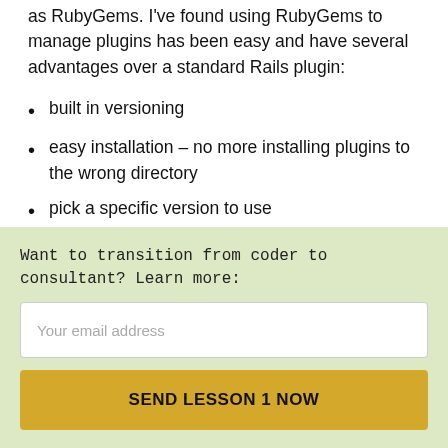as RubyGems. I've found using RubyGems to manage plugins has been easy and have several advantages over a standard Rails plugin:
built in versioning
easy installation – no more installing plugins to the wrong directory
pick a specific version to use
not having to add a bunch of code to the application tree
Want to transition from coder to consultant? Learn more:
Your email address
SEND LESSON 1 NOW